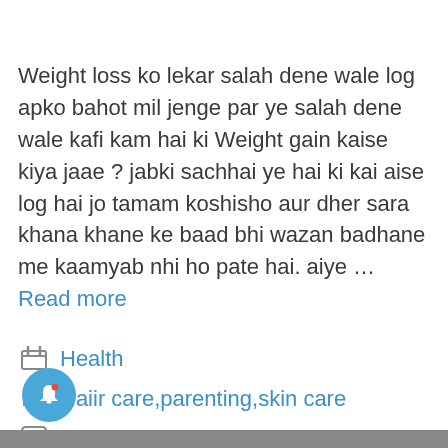Weight loss ko lekar salah dene wale log apko bahot mil jenge par ye salah dene wale kafi kam hai ki Weight gain kaise kiya jaae ? jabki sachhai ye hai ki kai aise log hai jo tamam koshisho aur dher sara khana khane ke baad bhi wazan badhane me kaamyab nhi ho pate hai. aiye … Read more
Health
Haiir care, parenting, skin care
2 Comments